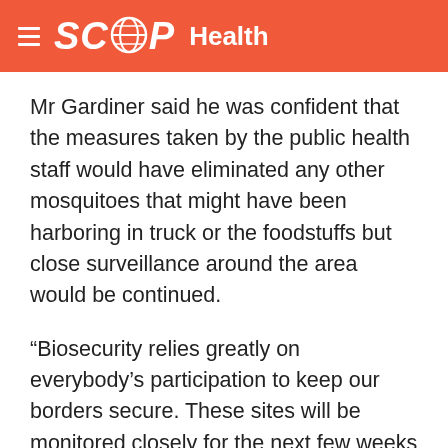SCOOP Health
Mr Gardiner said he was confident that the measures taken by the public health staff would have eliminated any other mosquitoes that might have been harboring in truck or the foodstuffs but close surveillance around the area would be continued.
“Biosecurity relies greatly on everybody’s participation to keep our borders secure. These sites will be monitored closely for the next few weeks but it is important that anyone who works in the vicinity who notices any mosquito activity such as insect biting or ‘wrigglers in pooled water’ assist by reporting this to the Public Health Services,” said Mr Gardiner.